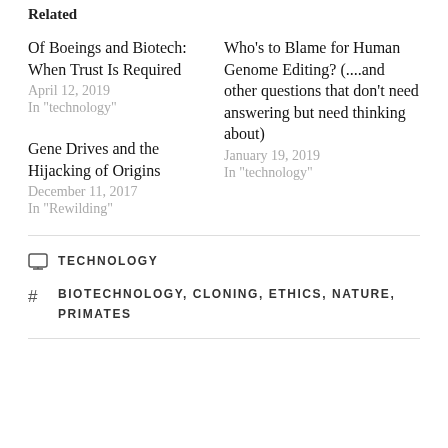Related
Of Boeings and Biotech: When Trust Is Required
April 12, 2019
In "technology"
Who's to Blame for Human Genome Editing? (....and other questions that don't need answering but need thinking about)
January 19, 2019
In "technology"
Gene Drives and the Hijacking of Origins
December 11, 2017
In "Rewilding"
TECHNOLOGY
BIOTECHNOLOGY, CLONING, ETHICS, NATURE, PRIMATES